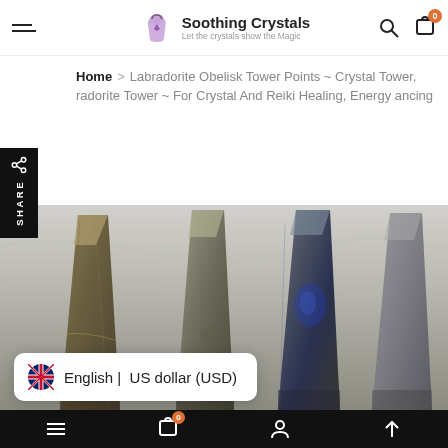Soothing Crystals — Let the crystals show the Magic
Home > Labradorite Obelisk Tower Points ~ Crystal Tower, radorite Tower ~ For Crystal And Reiki Healing, Energy ancing
[Figure (photo): Four labradorite obelisk crystal tower points standing upright against a light grey fabric background, showing various shades of grey, green, and blue iridescence]
English | US dollar (USD)
Bottom navigation bar with menu, cart (0), profile, and scroll-up icons